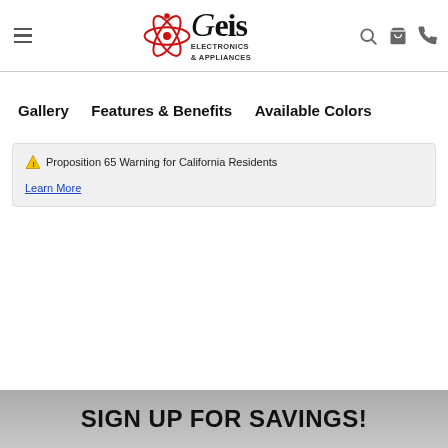Geis Electronics & Appliances — navigation header with logo, search, cart, phone icons
Gallery
Features & Benefits
Available Colors
⚠ Proposition 65 Warning for California Residents
Learn More
SIGN UP FOR SAVINGS!